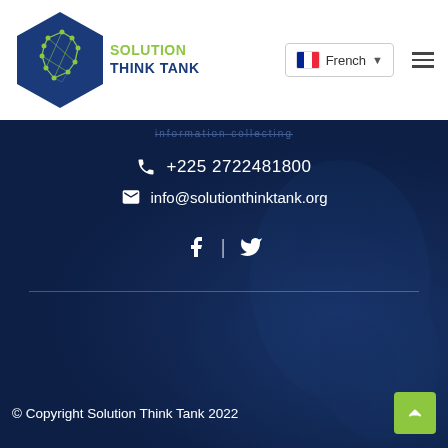[Figure (logo): Solution Think Tank logo: hexagon with network/map graphic in blue and green, with 'SOLUTION THINK TANK' text in dark blue and green]
French (language selector dropdown)
+225 2722481800
info@solutionthinktank.org
[Figure (other): Social media icons: Facebook (f) | Twitter (bird icon)]
© Copyright Solution Think Tank 2022